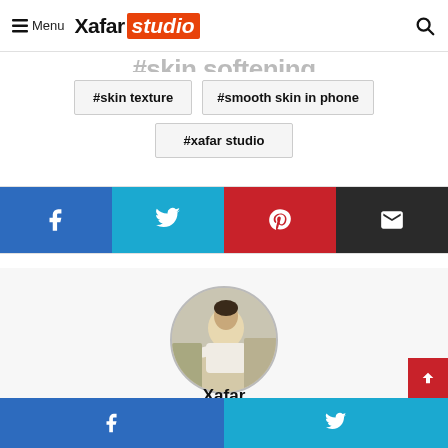Menu | Xafar studio
#skin softening
#skin texture
#smooth skin in phone
#xafar studio
[Figure (infographic): Social share buttons row: Facebook (blue), Twitter (cyan), Pinterest (red), Email (dark/black)]
[Figure (photo): Circular avatar photo of author Xafar, a man in a white shirt seated outdoors]
Xafar
[Figure (infographic): Bottom share bar: Facebook (blue) and Twitter (cyan) buttons]